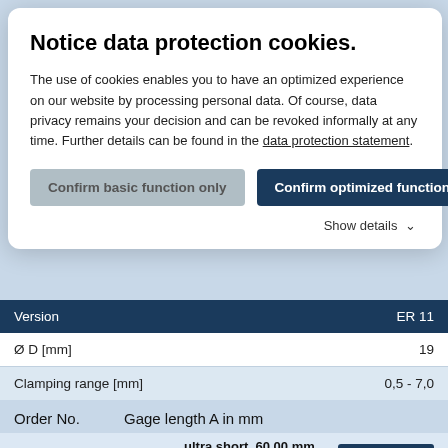Notice data protection cookies.
The use of cookies enables you to have an optimized experience on our website by processing personal data. Of course, data privacy remains your decision and can be revoked informally at any time. Further details can be found in the data protection statement.
Confirm basic function only | Confirm optimized function | Show details
| Version | ER 11 |
| --- | --- |
| Ø D [mm] | 19 |
| Clamping range [mm] | 0,5 - 7,0 |
| L [mm] | 26,5 |
Order No.    Gage length A in mm
E50.025.11   ultra short, 60.00 mm   Without thread for back-up screw   ACCESSORY